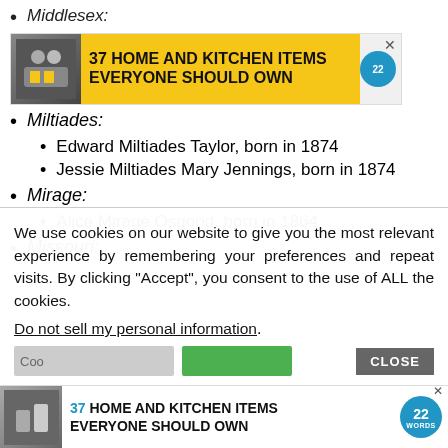Middlesex:
[Figure (screenshot): Advertisement banner: 37 HOME AND KITCHEN ITEMS EVERYONE SHOULD OWN with yellow background and badge]
Miltiades:
Edward Miltiades Taylor, born in 1874
Jessie Miltiades Mary Jennings, born in 1874
Mirage:
Alice Mirage Osgood, born in 1864
Missouri:
We use cookies on our website to give you the most relevant experience by remembering your preferences and repeat visits. By clicking “Accept”, you consent to the use of ALL the cookies.
Do not sell my personal information.
[Figure (screenshot): Bottom advertisement banner: 37 HOME AND KITCHEN ITEMS EVERYONE SHOULD OWN]